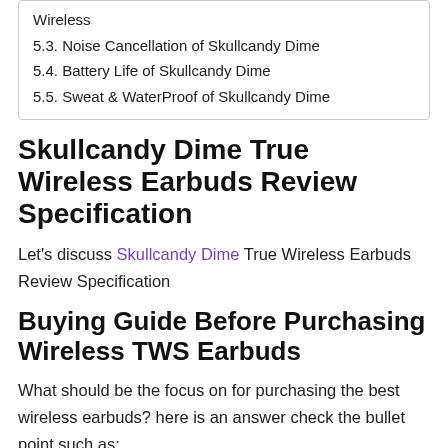Wireless
5.3. Noise Cancellation of Skullcandy Dime
5.4. Battery Life of Skullcandy Dime
5.5. Sweat & WaterProof of Skullcandy Dime
Skullcandy Dime True Wireless Earbuds Review Specification
Let's discuss Skullcandy Dime True Wireless Earbuds Review Specification
Buying Guide Before Purchasing Wireless TWS Earbuds
What should be the focus on for purchasing the best wireless earbuds? here is an answer check the bullet point such as: